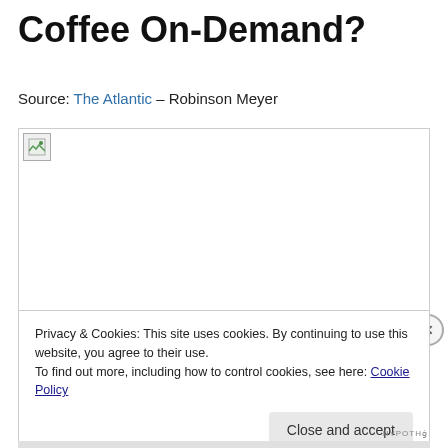Coffee On-Demand?
Source: The Atlantic – Robinson Meyer
[Figure (photo): Broken image placeholder with small icon in top-left corner, bordered box]
Privacy & Cookies: This site uses cookies. By continuing to use this website, you agree to their use.
To find out more, including how to control cookies, see here: Cookie Policy
Close and accept